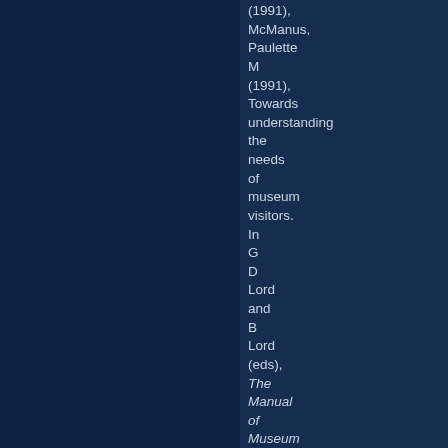(1991), McManus, Paulette M (1991), Towards understanding the needs of museum visitors. In G D Lord and B Lord (eds), The Manual of Museum Planning.